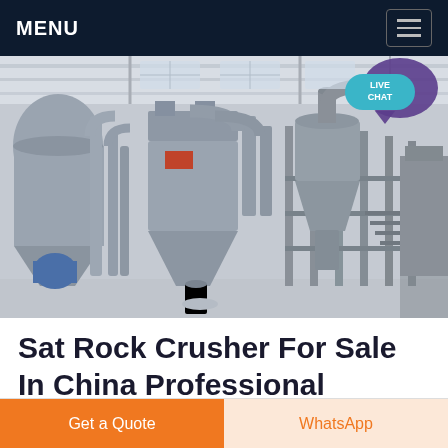MENU
[Figure (photo): Industrial factory interior showing large dust collection and processing equipment — hoppers, pipes, cyclone separators, conveyors, and steel structures inside a warehouse. A 'LIVE CHAT' badge is visible in the top right corner of the image.]
Sat Rock Crusher For Sale In China Professional
Get a Quote
WhatsApp